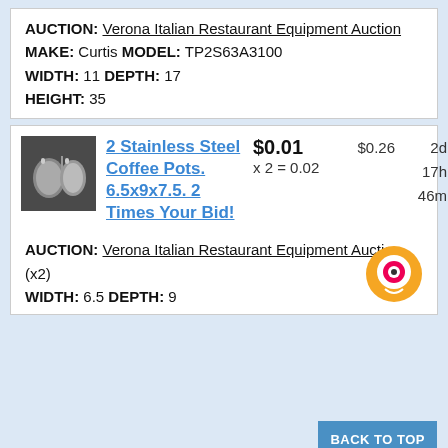AUCTION: Verona Italian Restaurant Equipment Auction
MAKE: Curtis MODEL: TP2S63A3100
WIDTH: 11 DEPTH: 17
HEIGHT: 35
[Figure (photo): Two stainless steel coffee pots]
2 Stainless Steel Coffee Pots. 6.5x9x7.5. 2 Times Your Bid!
$0.01 x 2 = 0.02
$0.26
2d 17h 46m
AUCTION: Verona Italian Restaurant Equipment Auction
(x2)
WIDTH: 6.5 DEPTH: 9